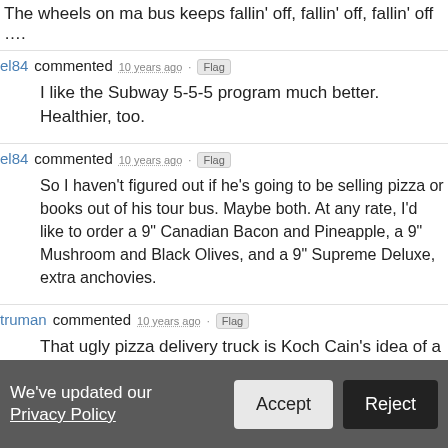The wheels on ma bus keeps fallin' off, fallin' off, fallin' off ….
el84 commented 10 years ago · Flag
I like the Subway 5-5-5 program much better. Healthier, too.
el84 commented 10 years ago · Flag
So I haven't figured out if he's going to be selling pizza or books out of his tour bus. Maybe both. At any rate, I'd like to order a 9" Canadian Bacon and Pineapple, a 9" Mushroom and Black Olives, and a 9" Supreme Deluxe, extra anchovies.
truman commented 10 years ago · Flag
That ugly pizza delivery truck is Koch Cain's idea of a chick magnet. Come on in ladies for a slice of heavenly Herman.
Antoinette commented 10 years ago · Flag
Koch Cain is the last man to talk about “Solutions” given his troubles with women other than his wife.
We've updated our Privacy Policy  Accept  Reject